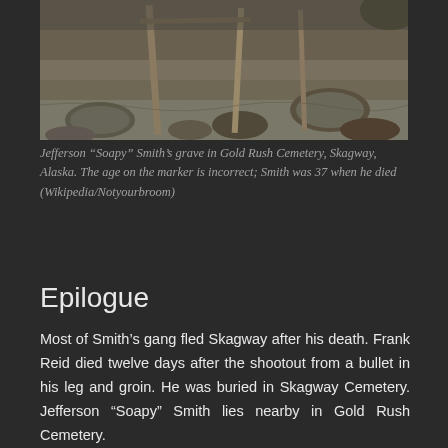[Figure (photo): Jefferson 'Soapy' Smith's grave in Gold Rush Cemetery, Skagway, Alaska. Shows grave markers and rocks on dirt ground.]
Jefferson “Soapy” Smith’s grave in Gold Rush Cemetery, Skagway, Alaska. The age on the marker is incorrect; Smith was 37 when he died (Wikipedia/Notyourbroom)
Epilogue
Most of Smith’s gang fled Skagway after his death. Frank Reid died twelve days after the shootout from a bullet in his leg and groin. He was buried in Skagway Cemetery. Jefferson “Soapy” Smith lies nearby in Gold Rush Cemetery.
There are several books about Soapy Smith. These include Alias Soapy Smith: The Life and Death of a